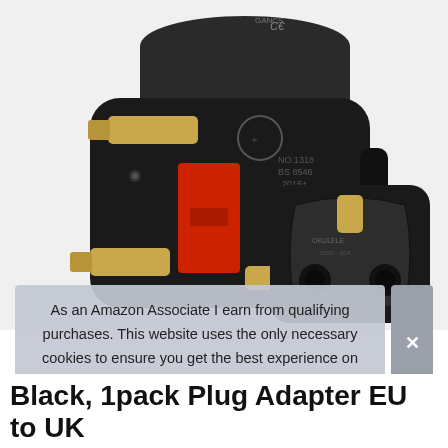[Figure (photo): Black EU to UK plug adapter shown from front angle with gold pins and red shutter, and a smaller back view showing the EU socket input. Labels visible: NO.1318, BS 8546, 2016+, CE mark.]
As an Amazon Associate I earn from qualifying purchases. This website uses the only necessary cookies to ensure you get the best experience on our website. More information
Black, 1pack Plug Adapter EU to UK